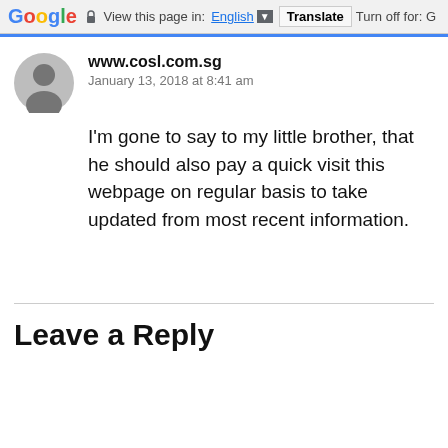Google  View this page in: English [▼]  Translate  Turn off for: G
www.cosl.com.sg
January 13, 2018 at 8:41 am
I’m gone to say to my little brother, that he should also pay a quick visit this webpage on regular basis to take updated from most recent information.
Leave a Reply